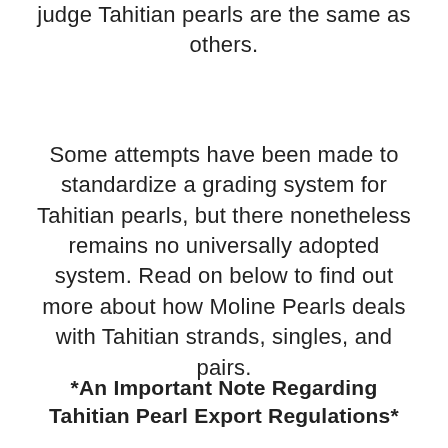judge Tahitian pearls are the same as others.
Some attempts have been made to standardize a grading system for Tahitian pearls, but there nonetheless remains no universally adopted system. Read on below to find out more about how Moline Pearls deals with Tahitian strands, singles, and pairs.
*An Important Note Regarding Tahitian Pearl Export Regulations*